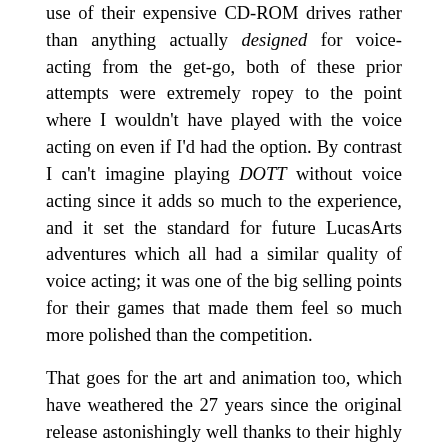use of their expensive CD-ROM drives rather than anything actually designed for voice-acting from the get-go, both of these prior attempts were extremely ropey to the point where I wouldn't have played with the voice acting on even if I'd had the option. By contrast I can't imagine playing DOTT without voice acting since it adds so much to the experience, and it set the standard for future LucasArts adventures which all had a similar quality of voice acting; it was one of the big selling points for their games that made them feel so much more polished than the competition.

That goes for the art and animation too, which have weathered the 27 years since the original release astonishingly well thanks to their highly stylised nature. Day Of The Tentacle is a full-on cartoon and it leverages this to good effect, with all of the comedy Wile-E-Coyote animations (eyes bulging, necks stretching, falling off of high places and leaving person-shaped holes in the ground, that kind of thing) that Monkey Island 2 arguably overused feeling perfectly at home here. The background art for the various locations inside the mansion is full of crazy, irregular shapes and oversized cartoonish proportions on otherwise normal objects, which is a style that I don't usually enjoy but which works here, and which has insulated Day Of The Tentacle from aging like the more realistic backgrounds in Fate Of Atlantis did. And something that I hadn't realised before doing this series was that Day Of The Tentacle...